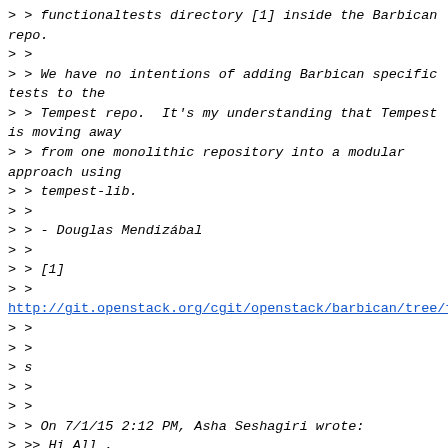> > functionaltests directory [1] inside the Barbican
repo.
> >
> > We have no intentions of adding Barbican specific
tests to the
> > Tempest repo.  It's my understanding that Tempest
is moving away
> > from one monolithic repository into a modular
approach using
> > tempest-lib.
> >
> > - Douglas Mendizábal
> >
> > [1]
> >
http://git.openstack.org/cgit/openstack/barbican/tree/fun
> >
> >
> s
> >
> >
> > On 7/1/15 2:12 PM, Asha Seshagiri wrote:
> >> Hi All ,
> >
> >> Has anyone done the Tempest tests for Barbican API Any help
> >> would be highly appreciated.
> >
> >> -- /Thanks and Regards,/ /Asha Seshagiri/
> >